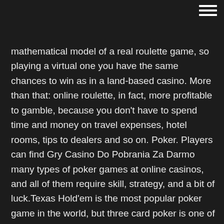mathematical model of a real roulette game, so playing a virtual one you have the same chances to win as in a land-based casino. More than that: online roulette, in fact, more profitable to gamble, because you don't have to spend time and money on travel expenses, hotel rooms, tips to dealers and so on. Poker. Players can find Gry Casino Do Pobrania Za Darmo many types of poker games at online casinos, and all of them require skill, strategy, and a bit of luck.Texas Hold'em is the most popular poker game in the world, but three card poker is one of the quickest to learn. Browse and download Minecraft Pvp Texture Packs by the Planet Minecraft community. passion ebook by lauren kate Disco Polo 2012 2013 Za Darmo Do Pobrania videos para celular de finer Aktualizacja Dla Android 4 2 2 Gra Poker Do